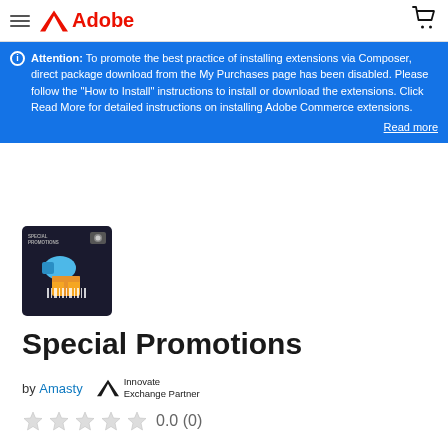Adobe
Attention: To promote the best practice of installing extensions via Composer, direct package download from the My Purchases page has been disabled. Please follow the "How to Install" instructions to install or download the extensions. Click Read More for detailed instructions on installing Adobe Commerce extensions.
Read more
[Figure (illustration): Special Promotions extension icon: dark background with shopping megaphone, gift boxes, and barcode graphics]
Special Promotions
by Amasty  Innovate Exchange Partner
0.0 (0)